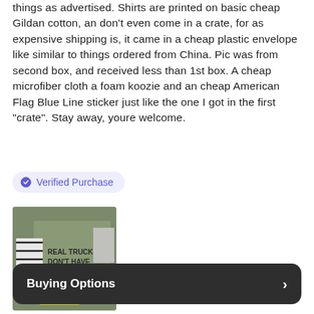things as advertised. Shirts are printed on basic cheap Gildan cotton, an don't even come in a crate, for as expensive shipping is, it came in a cheap plastic envelope like similar to things ordered from China. Pic was from second box, and received less than 1st box. A cheap microfiber cloth a foam koozie and an cheap American Flag Blue Line sticker just like the one I got in the first "crate". Stay away, youre welcome.
Verified Purchase
[Figure (photo): Photo of a green t-shirt with text 'REAL TRUCKS DON'T HAVE SPARK PLUGS' and a yellow koozie labeled 'DIESEL CRATE', with a striped sticker visible]
Buying Options